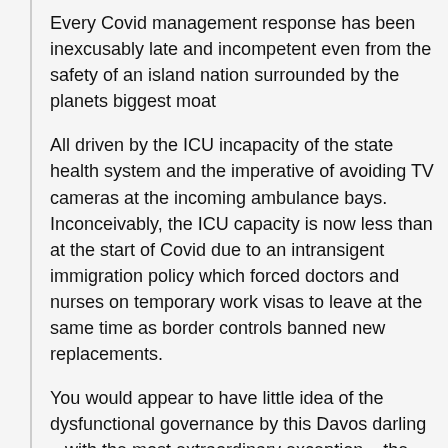Every Covid management response has been inexcusably late and incompetent even from the safety of an island nation surrounded by the planets biggest moat
All driven by the ICU incapacity of the state health system and the imperative of avoiding TV cameras at the incoming ambulance bays. Inconceivably, the ICU capacity is now less than at the start of Covid due to an intransigent immigration policy which forced doctors and nurses on temporary work visas to leave at the same time as border controls banned new replacements.
You would appear to have little idea of the dysfunctional governance by this Davos darling – with the most extraordinary exception – the breathtaking ability to maintain a narrative in the media and public mind which is largely at complete variance with what too many are experiencing in their everyday lives, to say